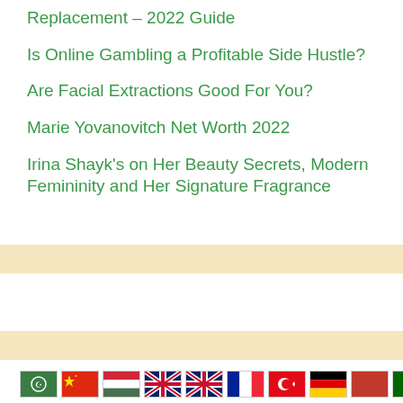Replacement – 2022 Guide
Is Online Gambling a Profitable Side Hustle?
Are Facial Extractions Good For You?
Marie Yovanovitch Net Worth 2022
Irina Shayk's on Her Beauty Secrets, Modern Femininity and Her Signature Fragrance
[Figure (other): Beige/tan horizontal banner strip advertisement area 1]
[Figure (other): Beige/tan horizontal banner strip advertisement area 2]
[Figure (other): Row of country flag icons at bottom of page: Arab, China, Hungary, UK, UK, France, Turkey, Germany, pink flag, Portugal]